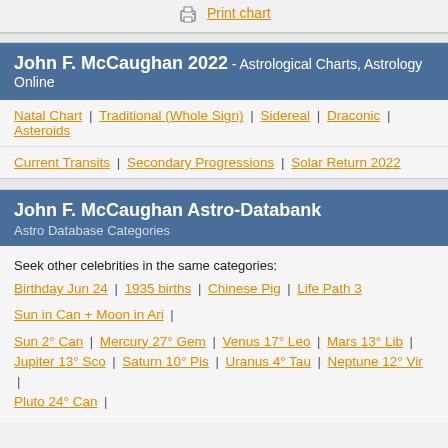[Figure (other): Print chart icon and link at top of page]
John F. McCaughan 2022 - Astrological Charts, Astrology Online
Natal Chart | Traditional (Whole Sign) | Sidereal | Draconic | Asteroids
Current Transits | Secondary Progressions | Solar Return 2022
John F. McCaughan Astro-Databank
Astro Database Categories
Seek other celebrities in the same categories:
Birthday Jun 24 | 1935 births | Chinese Pig | Life Path 3
Sun in Can + Moon in Ari |
Sun 2° Can | Mercury 27° Gem | Venus 17° Leo | Mars 13° Lib | Jupiter 13° Sco | Saturn 10° Pis | Uranus 4° Tau | Neptune 12° Vir | Pluto 24° Can |